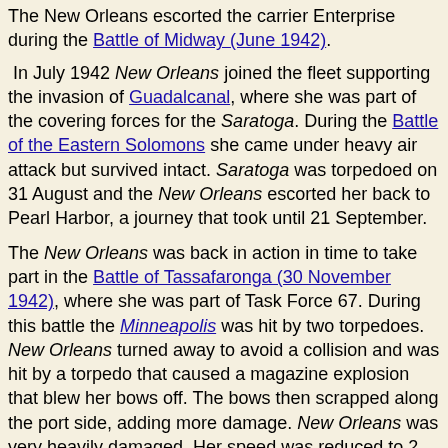The New Orleans escorted the carrier Enterprise during the Battle of Midway (June 1942).
In July 1942 New Orleans joined the fleet supporting the invasion of Guadalcanal, where she was part of the covering forces for the Saratoga. During the Battle of the Eastern Solomons she came under heavy air attack but survived intact. Saratoga was torpedoed on 31 August and the New Orleans escorted her back to Pearl Harbor, a journey that took until 21 September.
The New Orleans was back in action in time to take part in the Battle of Tassafaronga (30 November 1942), where she was part of Task Force 67. During this battle the Minneapolis was hit by two torpedoes. New Orleans turned away to avoid a collision and was hit by a torpedo that caused a magazine explosion that blew her bows off. The bows then scrapped along the port side, adding more damage. New Orleans was very heavily damaged. Her speed was reduced to 2 knots and a severe fire had to be put out, but somehow she survived and managed to reach Tulagi on 1 December. The Japanese were still very active in the air, and so the damaged ship had to be camouflaged. Her crew built a new temporary bow out of coconut logs, and with this wooden bow she managed to reach Sydney, arriving on 24 December.